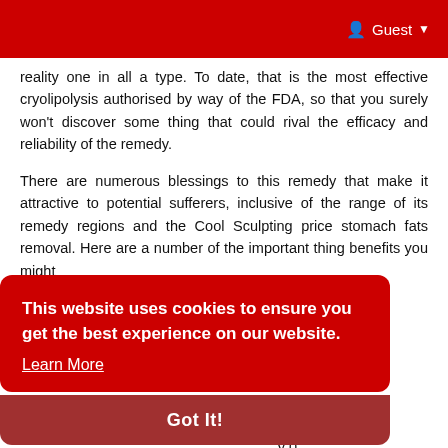Guest
reality one in all a type. To date, that is the most effective cryolipolysis authorised by way of the FDA, so that you surely won't discover some thing that could rival the efficacy and reliability of the remedy.
There are numerous blessings to this remedy that make it attractive to potential sufferers, inclusive of the range of its remedy regions and the Cool Sculpting price stomach fats removal. Here are a number of the important thing benefits you might
[Figure (screenshot): Red cookie consent banner overlay reading: 'This website uses cookies to ensure you get the best experience on our website. Learn More' with a 'Got It!' button bar at the bottom.]